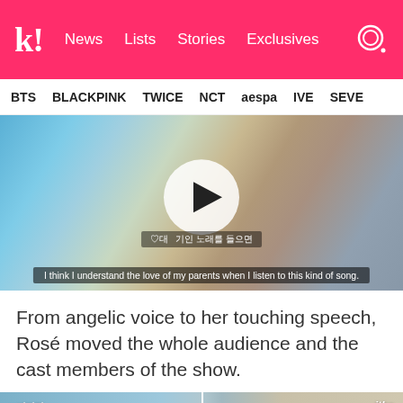k! News Lists Stories Exclusives
BTS BLACKPINK TWICE NCT aespa IVE SEVE
[Figure (screenshot): Video still of a blonde woman holding a microphone with a play button overlay and subtitle text: Korean subtitle and English subtitle 'I think I understand the love of my parents when I listen to this kind of song.']
From angelic voice to her touching speech, Rosé moved the whole audience and the cast members of the show.
[Figure (screenshot): Two-panel image from a JTBC broadcast showing cast members, with Korean text '비리턴 바다' overlay on left panel and JTBC logo on right panel.]